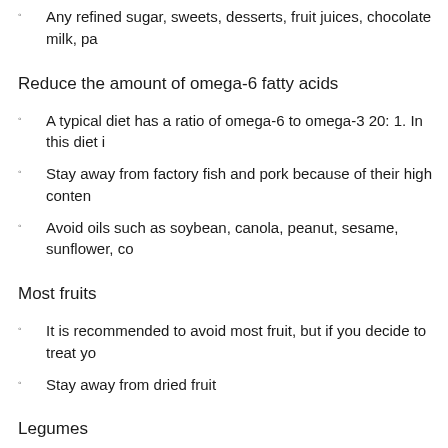Any refined sugar, sweets, desserts, fruit juices, chocolate milk, pa…
Reduce the amount of omega-6 fatty acids
A typical diet has a ratio of omega-6 to omega-3 20: 1. In this diet i…
Stay away from factory fish and pork because of their high conten…
Avoid oils such as soybean, canola, peanut, sesame, sunflower, co…
Most fruits
It is recommended to avoid most fruit, but if you decide to treat yo…
Stay away from dried fruit
Legumes
Do not eat any beans, peas or lentils because of the high carbohy…
Processed foods